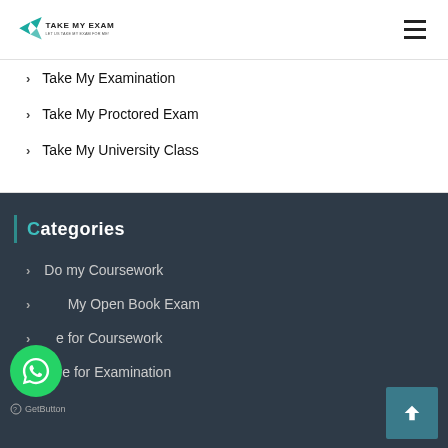[Figure (logo): Take My Exam logo with bird/arrow icon and text TAKE MY EXAM]
> Take My Examination
> Take My Proctored Exam
> Take My University Class
Categories
> Do my Coursework
> Take My Open Book Exam
> Hire for Coursework
> Hire for Examination